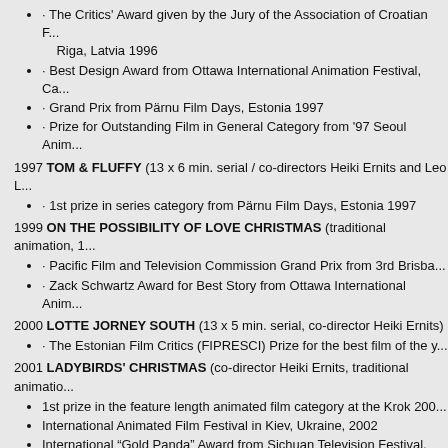· The Critics' Award given by the Jury of the Association of Croatian F... Riga, Latvia 1996
· Best Design Award from Ottawa International Animation Festival, Ca...
· Grand Prix from Pärnu Film Days, Estonia 1997
· Prize for Outstanding Film in General Category from '97 Seoul Anim...
1997 TOM & FLUFFY (13 x 6 min. serial / co-directors Heiki Ernits and Leo L...
· 1st prize in series category from Pärnu Film Days, Estonia 1997
1999 ON THE POSSIBILITY OF LOVE CHRISTMAS (traditional animation, 1...
· Pacific Film and Television Commission Grand Prix from 3rd Brisba...
· Zack Schwartz Award for Best Story from Ottawa International Anim...
2000 LOTTE JORNEY SOUTH (13 x 5 min. serial, co-director Heiki Ernits)
· The Estonian Film Critics (FIPRESCI) Prize for the best film of the y...
2001 LADYBIRDS' CHRISTMAS (co-director Heiki Ernits, traditional animatio...
1st prize in the feature length animated film category at the Krok 200...
International Animated Film Festival in Kiev, Ukraine, 2002
International "Gold Panda" Award from Sichuan Television Festival, C...
Best Character Design Award from Sichuan Television Festival, China...
2002 CONCERT ON A CARROT PIE (co-director Heiki Ernits, traditional ani...
Encouragement Award from Hida International Animation Festival of J...
Best Animated Film of 1st International Animated Film Festival BIMIN...
Special Recognition of the Children's Jury from 43rd International Film...
The Best Animation Film for Children from 1st International Animated...
The Silver Elephant Award in Best Animation Category from The Gold...
· Special Mention "Unexpected Moments of Madness" from I Castelli...
2006 LOTTE FROM GADGETVILLE (co-director Heiki Ernits, traditional anim...
Award for the Best Film of 2006 from the Ene and Tõnis Kask Found...